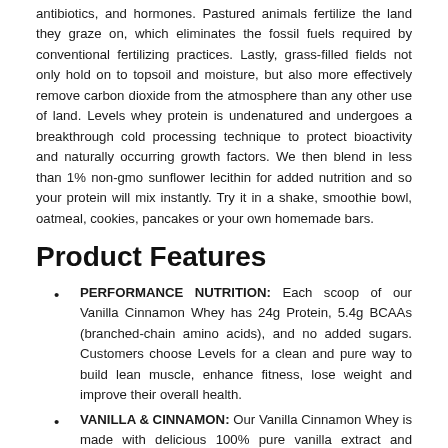antibiotics, and hormones. Pastured animals fertilize the land they graze on, which eliminates the fossil fuels required by conventional fertilizing practices. Lastly, grass-filled fields not only hold on to topsoil and moisture, but also more effectively remove carbon dioxide from the atmosphere than any other use of land. Levels whey protein is undenatured and undergoes a breakthrough cold processing technique to protect bioactivity and naturally occurring growth factors. We then blend in less than 1% non-gmo sunflower lecithin for added nutrition and so your protein will mix instantly. Try it in a shake, smoothie bowl, oatmeal, cookies, pancakes or your own homemade bars.
Product Features
PERFORMANCE NUTRITION: Each scoop of our Vanilla Cinnamon Whey has 24g Protein, 5.4g BCAAs (branched-chain amino acids), and no added sugars. Customers choose Levels for a clean and pure way to build lean muscle, enhance fitness, lose weight and improve their overall health.
VANILLA & CINNAMON: Our Vanilla Cinnamon Whey is made with delicious 100% pure vanilla extract and ground cinnamon then lightly sweetened with monk fruit extract.
BEYOND ORGANIC: Our 100% grass-fed whey protein comes from pasture-raised dairy cows that eat a nutrient-rich, diverse diet of grasses, which creates a higher concentration of vitamins, minerals, and other beneficial nutrients.
PURE PROVISIONS: Levels Whey Protein is made in the U.S.A. and